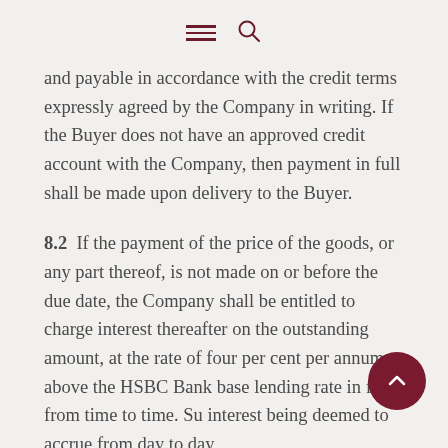menu search
and payable in accordance with the credit terms expressly agreed by the Company in writing. If the Buyer does not have an approved credit account with the Company, then payment in full shall be made upon delivery to the Buyer.
8.2  If the payment of the price of the goods, or any part thereof, is not made on or before the due date, the Company shall be entitled to charge interest thereafter on the outstanding amount, at the rate of four per cent per annum above the HSBC Bank base lending rate in force from time to time. Such interest being deemed to accrue from day to day